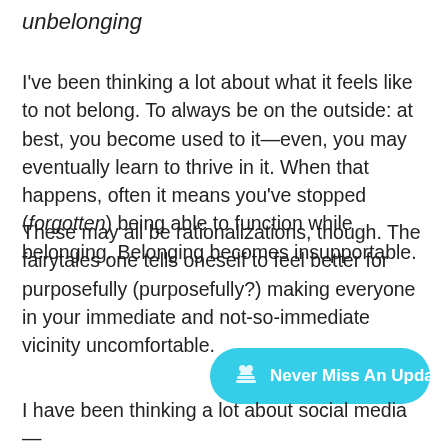unbelonging
I've been thinking a lot about what it feels like to not belong. To always be on the outside: at best, you become used to it—even, you may eventually learn to thrive in it. When that happens, often it means you've stopped (forgotten) being able to function while belonging. Belonging becomes insupportable.
These may all be rationalizations, though. The fairytales one tells oneself to feel better for purposefully (purposefully?) making everyone in your immediate and not-so-immediate vicinity uncomfortable.
[Figure (other): Cyan rounded button with heart/hand icon and text 'Never Miss An Update']
I have been thinking a lot about social media—